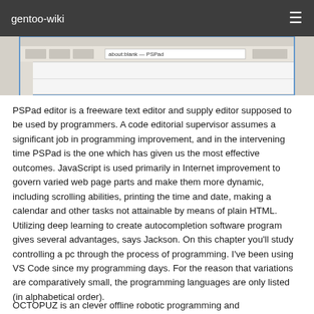gentoo-wiki
[Figure (screenshot): Screenshot of a software application window showing a toolbar and interface elements]
PSPad editor is a freeware text editor and supply editor supposed to be used by programmers. A code editorial supervisor assumes a significant job in programming improvement, and in the intervening time PSPad is the one which has given us the most effective outcomes. JavaScript is used primarily in Internet improvement to govern varied web page parts and make them more dynamic, including scrolling abilities, printing the time and date, making a calendar and other tasks not attainable by means of plain HTML. Utilizing deep learning to create autocompletion software program gives several advantages, says Jackson. On this chapter you'll study controlling a pc through the process of programming. I've been using VS Code since my programming days. For the reason that variations are comparatively small, the programming languages are only listed (in alphabetical order).
OCTOPUZ is an clever offline robotic programming and